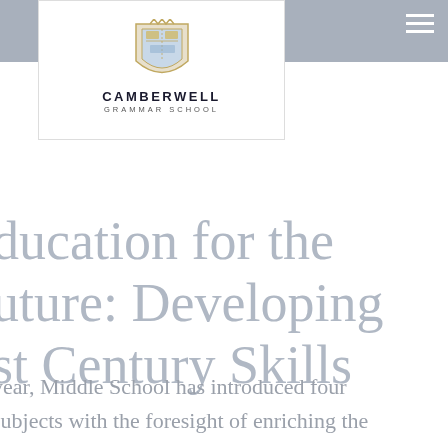[Figure (logo): Camberwell Grammar School crest logo with school name]
Education for the Future: Developing 21st Century Skills
This year, Middle School has introduced four new subjects with the foresight of enriching the curriculum: STEM, Digital Citizenship, Drama, and Creative Design Solutions. Mr Troy Stanley,